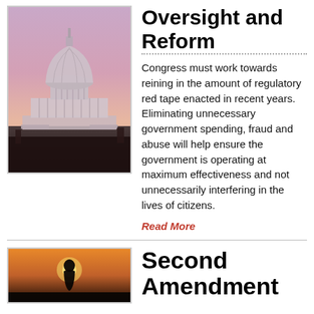[Figure (photo): Photo of the US Capitol building dome at dusk/sunset with a purple-pink sky]
Oversight and Reform
Congress must work towards reining in the amount of regulatory red tape enacted in recent years. Eliminating unnecessary government spending, fraud and abuse will help ensure the government is operating at maximum effectiveness and not unnecessarily interfering in the lives of citizens.
Read More
[Figure (photo): Photo of a silhouette figure against a sunset/orange sky]
Second Amendment